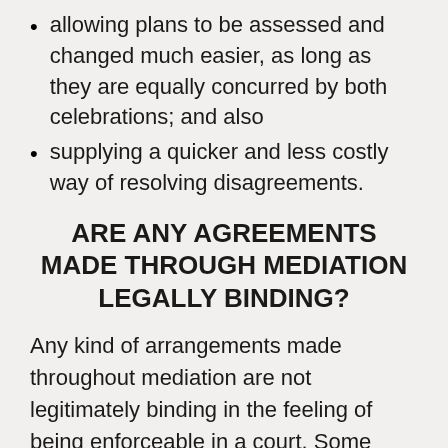allowing plans to be assessed and changed much easier, as long as they are equally concurred by both celebrations; and also
supplying a quicker and less costly way of resolving disagreements.
ARE ANY AGREEMENTS MADE THROUGH MEDIATION LEGALLY BINDING?
Any kind of arrangements made throughout mediation are not legitimately binding in the feeling of being enforceable in a court. Some individuals do choose to get a solicitor to look over the arrangement, and also the arrangement can be made use of in court at a later stage in order to show...